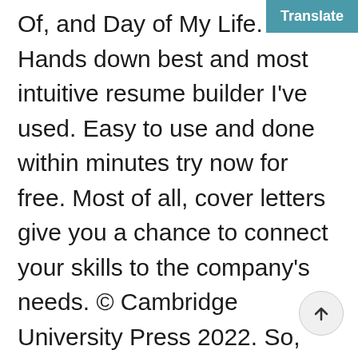Of, and Day of My Life.  Hands down best and most intuitive resume builder I've used. Easy to use and done within minutes try now for free. Most of all, cover letters give you a chance to connect your skills to the company's needs. © Cambridge University Press 2022. So, here's how that would look for our example. When editing your resume, make sure there are no punctuation, grammatical, spelling, or other errors that will make your resume look unprofessional. If you are applying for both academic as well as industry private or public sector positions, you will need to